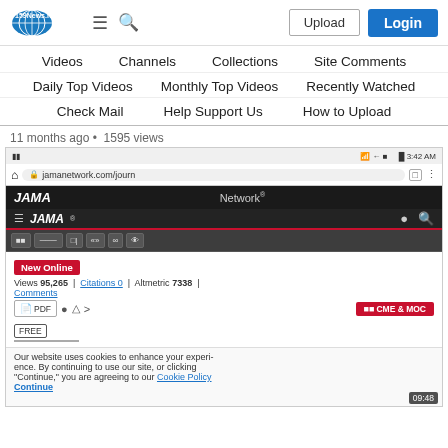[Figure (screenshot): 159News.net website header with logo, hamburger menu, search icon, Upload button, and Login button]
Videos   Channels   Collections   Site Comments
Daily Top Videos   Monthly Top Videos   Recently Watched
Check Mail   Help Support Us   How to Upload
11 months ago • 1595 views
[Figure (screenshot): Mobile screenshot of JAMA Network website showing JAMA Network header, navigation toolbar, New Online badge, views 95,265, Citations 0, Altmetric 7338, Comments, PDF button, CME & MOC button, FREE badge, and cookie consent banner reading: Our website uses cookies to enhance your experience. By continuing to use our site, or clicking Continue, you are agreeing to our Cookie Policy Continue]